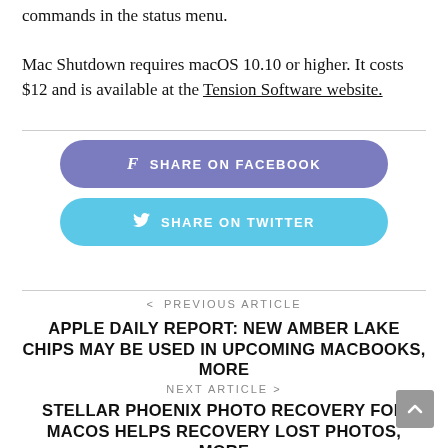commands in the status menu.
Mac Shutdown requires macOS 10.10 or higher. It costs $12 and is available at the Tension Software website.
[Figure (other): Share on Facebook button (purple rounded rectangle) and Share on Twitter button (blue rounded rectangle)]
< PREVIOUS ARTICLE
APPLE DAILY REPORT: NEW AMBER LAKE CHIPS MAY BE USED IN UPCOMING MACBOOKS, MORE
NEXT ARTICLE >
STELLAR PHOENIX PHOTO RECOVERY FOR MACOS HELPS RECOVERY LOST PHOTOS, MORE